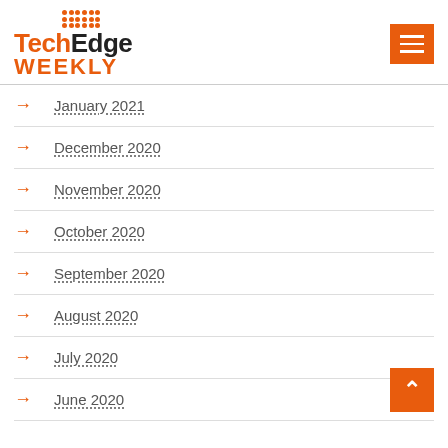TechEdge Weekly
January 2021
December 2020
November 2020
October 2020
September 2020
August 2020
July 2020
June 2020